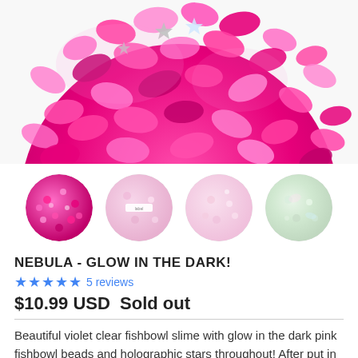[Figure (photo): Close-up photo of a pink glitter fishbowl slime ball with holographic star sequins, showing pink sequins and sparkles on a hot pink background]
[Figure (photo): Four circular thumbnail images of slime variants: hot pink glitter, light pink with label, pale pink, and iridescent white/green]
NEBULA - GLOW IN THE DARK!
★★★★★ 5 reviews
$10.99 USD  Sold out
Beautiful violet clear fishbowl slime with glow in the dark pink fishbowl beads and holographic stars throughout! After put in direct light for a few minutes, the pink fishbowl beads will glow yellow in the dark!